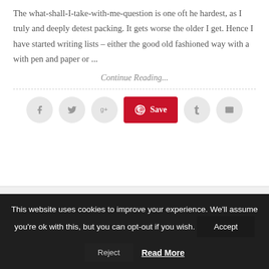The what-shall-I-take-with-me-question is one oft he hardest, as I truly and deeply detest packing. It gets worse the older I get. Hence I have started writing lists – either the good old fashioned way with a with pen and paper or ...
Continue Reading...
[Figure (infographic): Social sharing buttons row: Facebook (circle), Twitter (circle), Google+ (circle), Pinterest Save (red rounded rectangle), Tumblr (circle), Email (circle)]
This website uses cookies to improve your experience. We'll assume you're ok with this, but you can opt-out if you wish.
Accept
Reject
Read More